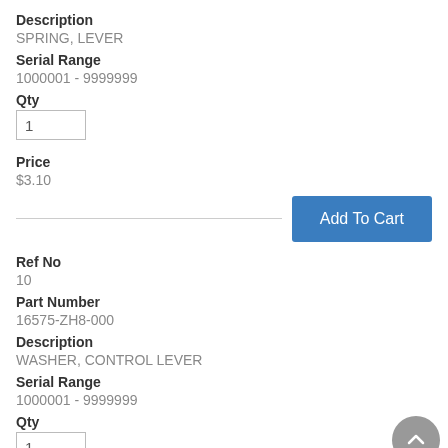Description
SPRING, LEVER
Serial Range
1000001 - 9999999
Qty
1
Price
$3.10
Ref No
10
Part Number
16575-ZH8-000
Description
WASHER, CONTROL LEVER
Serial Range
1000001 - 9999999
Qty
1